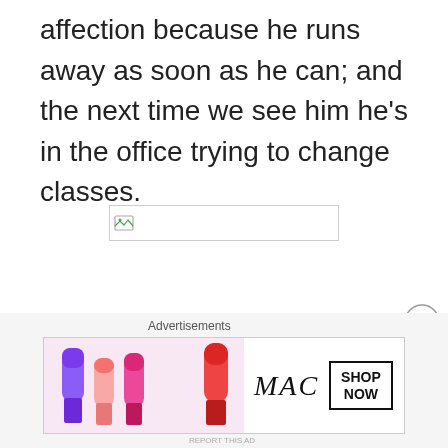affection because he runs away as soon as he can; and the next time we see him he's in the office trying to change classes.
[Figure (other): Broken image placeholder box with small broken-image icon in top-left corner]
[Figure (other): Close/dismiss button (circled X) for advertisement]
Advertisements
[Figure (other): MAC cosmetics advertisement banner showing lipsticks and MAC logo with SHOP NOW button]